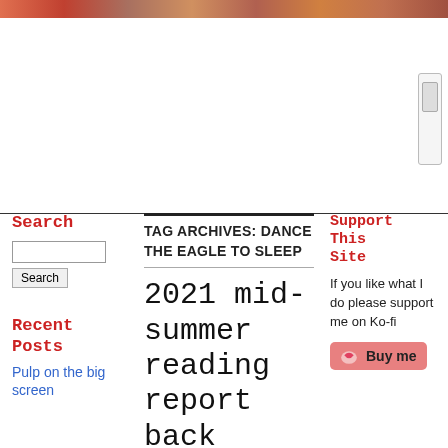[Figure (photo): Colorful banner/header image strip at the top of the page]
Search
Search [input box]
Recent Posts
Pulp on the big screen
TAG ARCHIVES: DANCE THE EAGLE TO SLEEP
2021 mid-summer reading report back
Posted on February 1, 2021 | 4 Comments
Support This Site
If you like what I do please support me on Ko-fi
[Figure (illustration): Ko-fi Buy me a coffee button in pink/red]